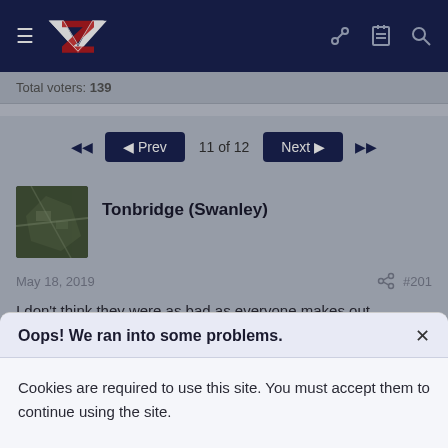Navigation bar with logo and icons
Total voters: 139
◄◄  ◄ Prev  11 of 12  Next ►  ►►
Tonbridge (Swanley)
May 18, 2019  #201
I don't think they were as bad as everyone makes out.
Greens kicking was OK. Looks like he's still hampered by the groin
Oops! We ran into some problems.
Cookies are required to use this site. You must accept them to continue using the site.